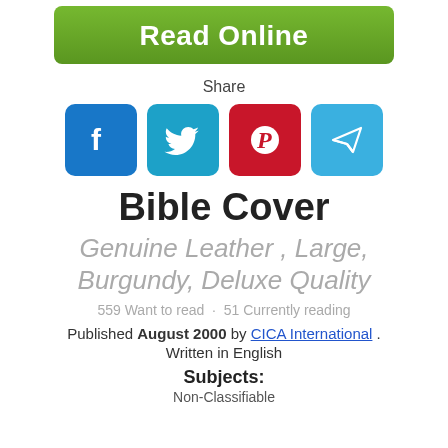[Figure (other): Green 'Read Online' button]
Share
[Figure (other): Social media icons: Facebook, Twitter, Pinterest, Telegram]
Bible Cover
Genuine Leather , Large, Burgundy, Deluxe Quality
559 Want to read · 51 Currently reading
Published August 2000 by CICA International . Written in English
Subjects:
Non-Classifiable